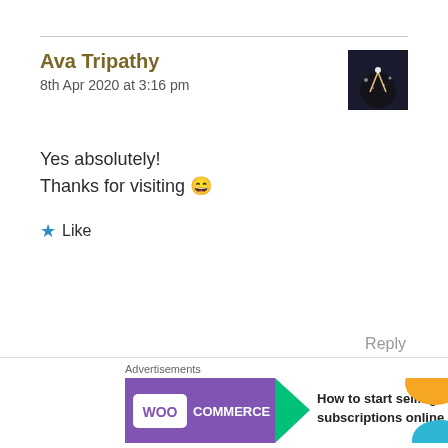Ava Tripathy
8th Apr 2020 at 3:16 pm
Yes absolutely!
Thanks for visiting 😄
★ Like
Reply
[Figure (infographic): Advertisement banner: blue-purple gradient background with text 'Simplified pricing for everything you need']
[Figure (infographic): WooCommerce advertisement: purple WooCommerce logo with green arrow, text 'How to start selling subscriptions online']